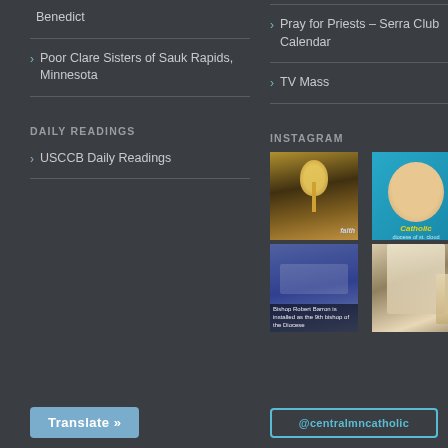Benedict
Poor Clare Sisters of Sauk Rapids, Minnesota
DAILY READINGS
USCCB Daily Readings
Pray for Priests – Serra Club Calendar
TV Mass
INSTAGRAM
[Figure (photo): Priest elevating a monstrance at Mass with candles in background]
[Figure (photo): Elderly man smiling, blue teal background, Catholic text overlay]
[Figure (photo): Mass congregation scene with caption about Bishop Robert Barron being installed as 9th bishop of the Diocese]
[Figure (photo): Priest in white vestments at an altar]
Translate »
@centralmncatholic